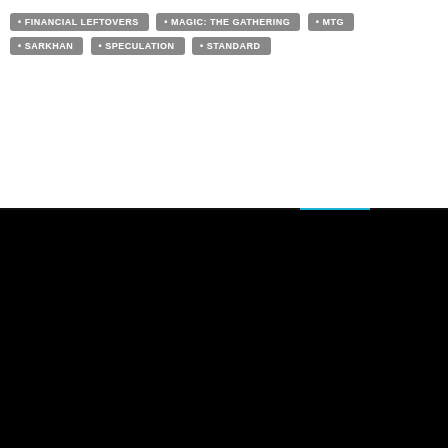• FINANCIAL LEFTOVERS
• MAGIC: THE GATHERING
• MTG
• SARKHAN
• SPECULATION
• STANDARD
← PREVIOUS  1  2  3
[Figure (logo): MTG$ logo — white letter M, vertical bar, white T on top row; white horizontal bar dividing; white G on bottom left, cyan square with white dollar sign bottom right]
Forgot password?